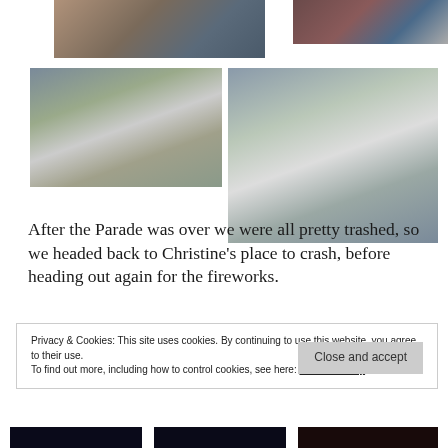[Figure (photo): Top left photo: people sitting, feet/shoes visible, outdoor setting]
[Figure (photo): Top right photo: crowd scene with red, white and blue colors]
[Figure (photo): Middle left photo: parade scene with person walking a golden dog on a street]
[Figure (photo): Middle right photo: parade scene with people dancing/marching on a street, crowd watching]
After the Parade was over we were all pretty trashed, so we headed back to Christine's place to crash, before heading out again for the fireworks.
Privacy & Cookies: This site uses cookies. By continuing to use this website, you agree to their use.
To find out more, including how to control cookies, see here: Cookie Policy
[Figure (photo): Bottom left thumbnail: dark fireworks photo]
[Figure (photo): Bottom center thumbnail: dark fireworks photo]
[Figure (photo): Bottom right thumbnail: dark fireworks/sunset photo]